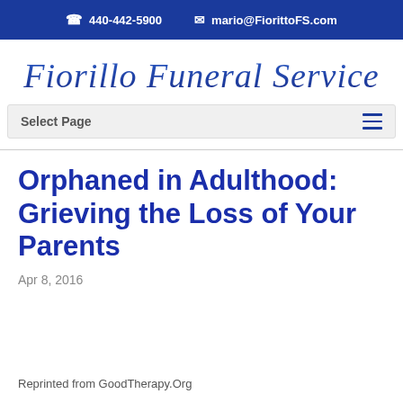440-442-5900   mario@FiorittoFS.com
[Figure (logo): Fioritto Funeral Service cursive logo in blue italic serif font]
Select Page
Orphaned in Adulthood: Grieving the Loss of Your Parents
Apr 8, 2016
Reprinted from GoodTherapy.Org